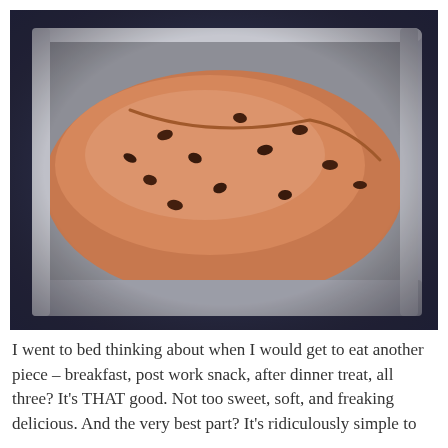[Figure (photo): A freshly baked loaf of banana bread with chocolate chips in a silver/grey metal baking loaf pan, resting on a dark navy blue surface. The bread is golden-brown with visible chocolate chips and has a slightly cracked top.]
I went to bed thinking about when I would get to eat another piece – breakfast, post work snack, after dinner treat, all three?  It's THAT good.  Not too sweet, soft, and freaking delicious.  And the very best part?  It's ridiculously simple to